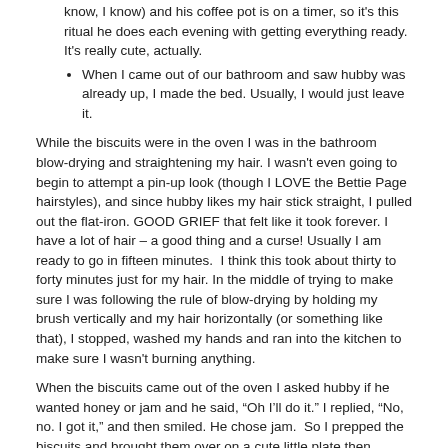while I was in the shower. Didn't even know how to make coffee (I know, I know) and his coffee pot is on a timer, so it's this ritual he does each evening with getting everything ready. It's really cute, actually.
When I came out of our bathroom and saw hubby was already up, I made the bed. Usually, I would just leave it.
While the biscuits were in the oven I was in the bathroom blow-drying and straightening my hair. I wasn't even going to begin to attempt a pin-up look (though I LOVE the Bettie Page hairstyles), and since hubby likes my hair stick straight, I pulled out the flat-iron. GOOD GRIEF that felt like it took forever. I have a lot of hair – a good thing and a curse! Usually I am ready to go in fifteen minutes.  I think this took about thirty to forty minutes just for my hair. In the middle of trying to make sure I was following the rule of blow-drying by holding my brush vertically and my hair horizontally (or something like that), I stopped, washed my hands and ran into the kitchen to make sure I wasn't burning anything.
When the biscuits came out of the oven I asked hubby if he wanted honey or jam and he said, “Oh I’ll do it.” I replied, “No, no. I got it,” and then smiled. He chose jam.  So I prepped the biscuits and brought them over on a cute little plate then grabbed his coffee mug to refill it. I had to ask him how much sugar and milk to put in. He looked at me funny when I wouldn't let him serve himself. Note to self: Learn how to operate the coffee machine pot thingy.
While he sat eating, I stood and ate while emptying the dishwasher from